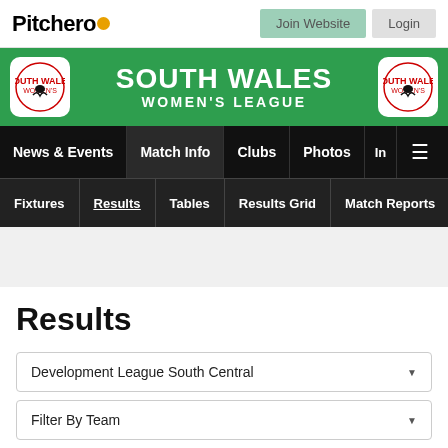Pitchero
[Figure (screenshot): South Wales Women's League green banner with dragon badge logos on both sides]
News & Events | Match Info | Clubs | Photos | In | Menu
Fixtures | Results | Tables | Results Grid | Match Reports
Results
Development League South Central
Filter By Team